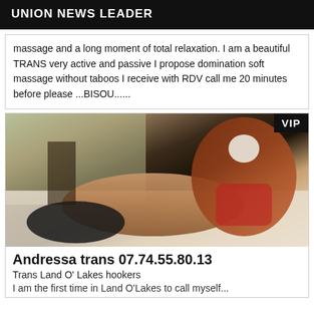UNION NEWS LEADER
massage and a long moment of total relaxation. I am a beautiful TRANS very active and passive I propose domination soft massage without taboos I receive with RDV call me 20 minutes before please ...BISOU......
[Figure (photo): Photo of a person lying on a bed, with a VIP badge in the top right corner]
Andressa trans 07.74.55.80.13
Trans Land O' Lakes hookers
I am the first time in Land O'Lakes to call myself...